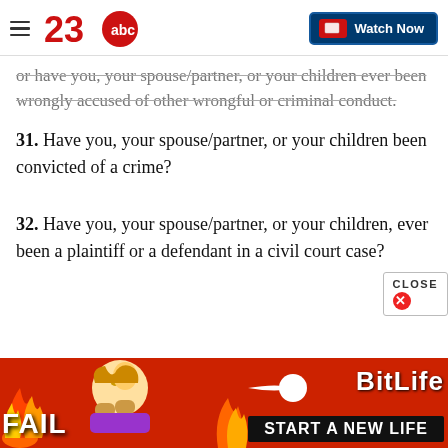23abc | Watch Now
or have you, your spouse/partner, or your children ever been wrongly accused of other wrongful or criminal conduct.
31. Have you, your spouse/partner, or your children been convicted of a crime?
32. Have you, your spouse/partner, or your children, ever been a plaintiff or a defendant in a civil court case?
[Figure (screenshot): BitLife advertisement banner at the bottom with FAIL text, cartoon character, flames, and START A NEW LIFE text]